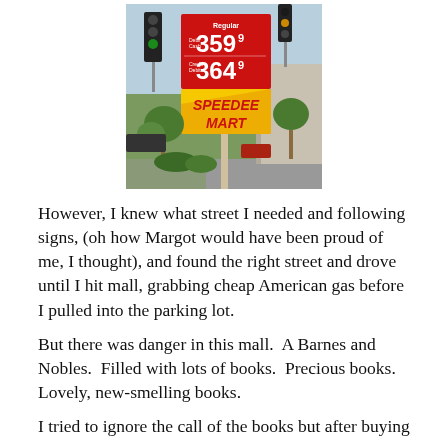[Figure (photo): Photo of a Speedee Mart gas station sign showing Regular gas prices: 359.9 (Debit/Cash) and 364.9 (Credit/Debit), with the Speedee Mart logo in red and yellow. Trees and cars visible in the background.]
However, I knew what street I needed and following signs, (oh how Margot would have been proud of me, I thought), and found the right street and drove until I hit mall, grabbing cheap American gas before I pulled into the parking lot.
But there was danger in this mall.  A Barnes and Nobles.  Filled with lots of books.  Precious books.  Lovely, new-smelling books.
I tried to ignore the call of the books but after buying some